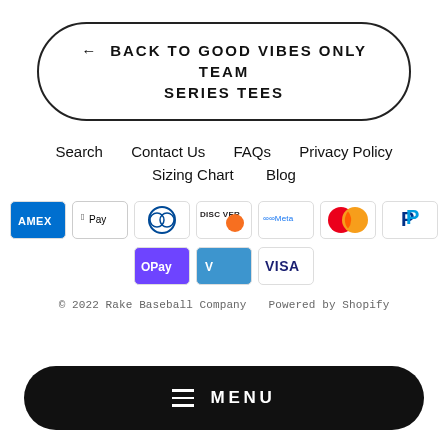← BACK TO GOOD VIBES ONLY TEAM SERIES TEES
Search   Contact Us   FAQs   Privacy Policy   Sizing Chart   Blog
[Figure (other): Payment method icons: American Express, Apple Pay, Diners Club, Discover, Meta Pay, Mastercard, PayPal, OPay, Venmo, Visa]
© 2022 Rake Baseball Company   Powered by Shopify
≡  MENU